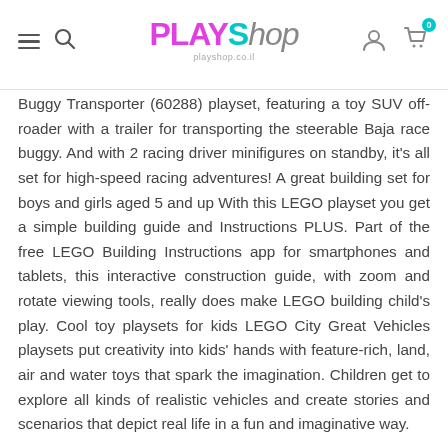PLAYShop — playshop.co.il
Buggy Transporter (60288) playset, featuring a toy SUV off-roader with a trailer for transporting the steerable Baja race buggy. And with 2 racing driver minifigures on standby, it's all set for high-speed racing adventures! A great building set for boys and girls aged 5 and up With this LEGO playset you get a simple building guide and Instructions PLUS. Part of the free LEGO Building Instructions app for smartphones and tablets, this interactive construction guide, with zoom and rotate viewing tools, really does make LEGO building child's play. Cool toy playsets for kids LEGO City Great Vehicles playsets put creativity into kids' hands with feature-rich, land, air and water toys that spark the imagination. Children get to explore all kinds of realistic vehicles and create stories and scenarios that depict real life in a fun and imaginative way.